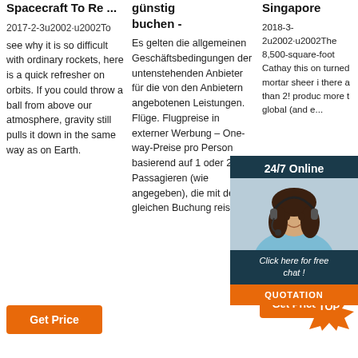Spacecraft To Re ...
2017-2-3u2002·u2002To see why it is so difficult with ordinary rockets, here is a quick refresher on orbits. If you could throw a ball from above our atmosphere, gravity still pulls it down in the same way as on Earth.
günstig buchen -
Es gelten die allgemeinen Geschäftsbedingungen der untenstehenden Anbieter für die von den Anbietern angebotenen Leistungen. Flüge. Flugpreise in externer Werbung – One-way-Preise pro Person basierend auf 1 oder 2 Passagieren (wie angegeben), die mit der gleichen Buchung reisen,
Singapore
2018-3-2u2002·u2002The 8,500-square-foot Cathay this on turned mortar sheer i there a than 2! produ more t global (and e...
[Figure (photo): 24/7 Online chat support widget with woman wearing headset, dark blue background, orange QUOTATION button]
[Figure (logo): Orange star-burst TOP badge logo]